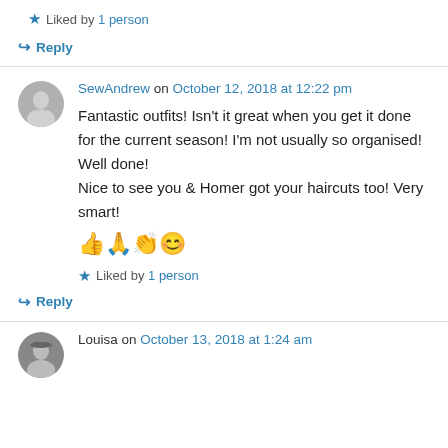★ Liked by 1 person
↳ Reply
SewAndrew on October 12, 2018 at 12:22 pm
Fantastic outfits! Isn't it great when you get it done for the current season! I'm not usually so organised! Well done!
Nice to see you & Homer got your haircuts too! Very smart!
👍🙏👏😊
★ Liked by 1 person
↳ Reply
Louisa on October 13, 2018 at 1:24 am